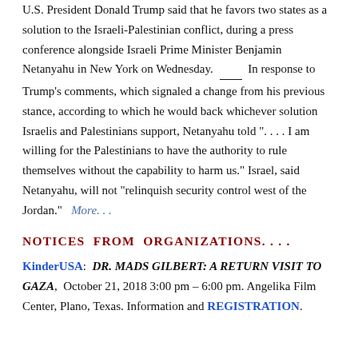U.S. President Donald Trump said that he favors two states as a solution to the Israeli-Palestinian conflict, during a press conference alongside Israeli Prime Minister Benjamin Netanyahu in New York on Wednesday. ___ In response to Trump's comments, which signaled a change from his previous stance, according to which he would back whichever solution Israelis and Palestinians support, Netanyahu told ". . . . I am willing for the Palestinians to have the authority to rule themselves without the capability to harm us." Israel, said Netanyahu, will not "relinquish security control west of the Jordan." More. . .
NOTICES FROM ORGANIZATIONS. . . .
KinderUSA: DR. MADS GILBERT: A RETURN VISIT TO GAZA, October 21, 2018 3:00 pm – 6:00 pm. Angelika Film Center, Plano, Texas. Information and REGISTRATION.